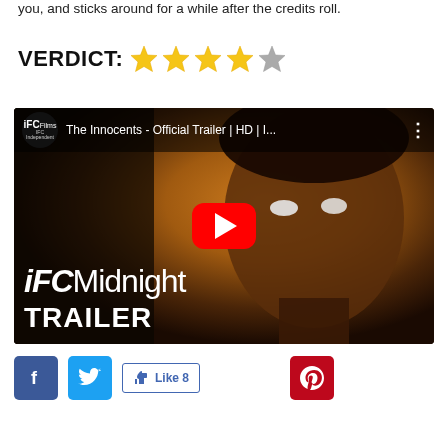you, and sticks around for a while after the credits roll.
VERDICT: ★★★★☆ (4 out of 5 stars)
[Figure (screenshot): YouTube video thumbnail for 'The Innocents - Official Trailer | HD | I...' from IFC Films / IFC Midnight, showing a person with glowing white eyes against a warm amber background, with IFC Midnight Trailer text overlay and a red play button]
[Figure (infographic): Social sharing buttons: Facebook (blue), Twitter (blue), Facebook Like (8 likes), Pinterest (red)]